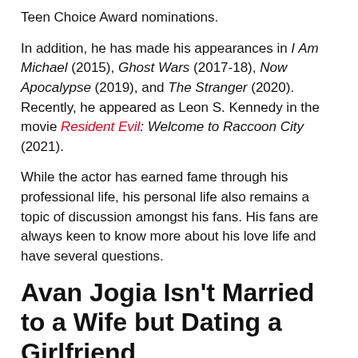Teen Choice Award nominations.
In addition, he has made his appearances in I Am Michael (2015), Ghost Wars (2017-18), Now Apocalypse (2019), and The Stranger (2020). Recently, he appeared as Leon S. Kennedy in the movie Resident Evil: Welcome to Raccoon City (2021).
While the actor has earned fame through his professional life, his personal life also remains a topic of discussion amongst his fans. His fans are always keen to know more about his love life and have several questions.
Avan Jogia Isn’t Married to a Wife but Dating a Girlfriend
As of this writing, the multi-talented Jogia is yet to